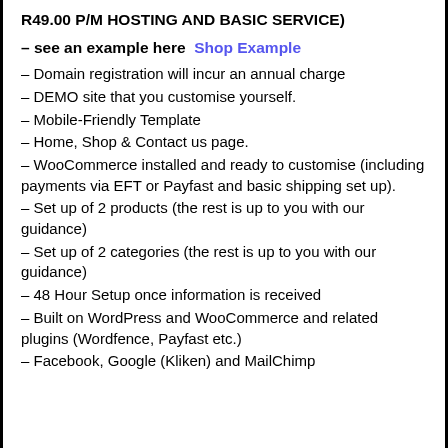R49.00 P/M HOSTING AND BASIC SERVICE)
– see an example here  Shop Example
– Domain registration will incur an annual charge
– DEMO site that you customise yourself.
– Mobile-Friendly Template
– Home, Shop & Contact us page.
– WooCommerce installed and ready to customise (including payments via EFT or Payfast and basic shipping set up).
– Set up of 2 products (the rest is up to you with our guidance)
– Set up of 2 categories (the rest is up to you with our guidance)
– 48 Hour Setup once information is received
– Built on WordPress and WooCommerce and related plugins (Wordfence, Payfast etc.)
– Facebook, Google (Kliken) and MailChimp